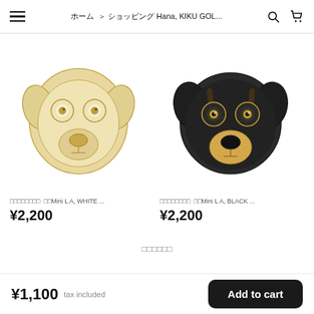☰  ホーム ＞ ショッピング Hana, KIKU GOL... 🔍 🛒
[Figure (illustration): Golden/white dog face brooch illustration - simplified cartoon dog face in gold/cream tones]
□□□□□□□□  □□Mini LA, WHITE ...
¥2,200
[Figure (illustration): Black dog face brooch illustration - simplified cartoon dog face in dark/black tones with gold accents]
□□□□□□□□  □□Mini LA, BLACK ...
¥2,200
□□□□□□
¥1,100 tax included   Add to cart